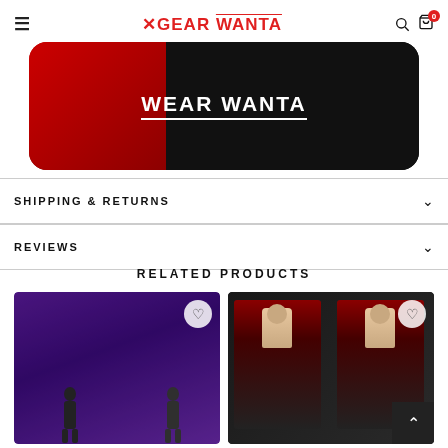≡  ✕GEAR WANTA  🔍 🛍 0
[Figure (photo): Product image showing a black and red blanket/mat with WEAR WANTA text in white, with a ruler on the right side]
SHIPPING & RETURNS
REVIEWS
RELATED PRODUCTS
[Figure (photo): Related product card 1: purple patterned blanket with people in background and heart/wishlist icon]
[Figure (photo): Related product card 2: dark anime-style blanket product with heart/wishlist icon]